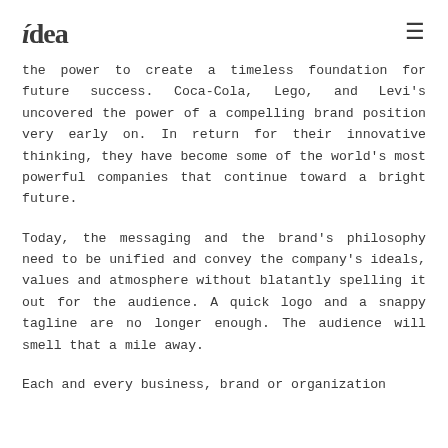idea
the power to create a timeless foundation for future success. Coca-Cola, Lego, and Levi's uncovered the power of a compelling brand position very early on. In return for their innovative thinking, they have become some of the world's most powerful companies that continue toward a bright future.
Today, the messaging and the brand's philosophy need to be unified and convey the company's ideals, values and atmosphere without blatantly spelling it out for the audience. A quick logo and a snappy tagline are no longer enough. The audience will smell that a mile away.
Each and every business, brand or organization